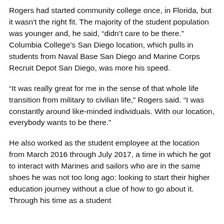Rogers had started community college once, in Florida, but it wasn't the right fit. The majority of the student population was younger and, he said, “didn’t care to be there.” Columbia College’s San Diego location, which pulls in students from Naval Base San Diego and Marine Corps Recruit Depot San Diego, was more his speed.
“It was really great for me in the sense of that whole life transition from military to civilian life,” Rogers said. “I was constantly around like-minded individuals. With our location, everybody wants to be there.”
He also worked as the student employee at the location from March 2016 through July 2017, a time in which he got to interact with Marines and sailors who are in the same shoes he was not too long ago: looking to start their higher education journey without a clue of how to go about it. Through his time as a student